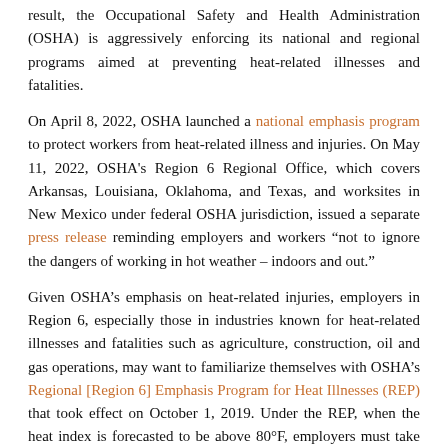result, the Occupational Safety and Health Administration (OSHA) is aggressively enforcing its national and regional programs aimed at preventing heat-related illnesses and fatalities.
On April 8, 2022, OSHA launched a national emphasis program to protect workers from heat-related illness and injuries. On May 11, 2022, OSHA's Region 6 Regional Office, which covers Arkansas, Louisiana, Oklahoma, and Texas, and worksites in New Mexico under federal OSHA jurisdiction, issued a separate press release reminding employers and workers "not to ignore the dangers of working in hot weather – indoors and out."
Given OSHA's emphasis on heat-related injuries, employers in Region 6, especially those in industries known for heat-related illnesses and fatalities such as agriculture, construction, oil and gas operations, may want to familiarize themselves with OSHA's Regional [Region 6] Emphasis Program for Heat Illnesses (REP) that took effect on October 1, 2019. Under the REP, when the heat index is forecasted to be above 80°F, employers must take the following heat illness precautions, including: (1) training employees on the hazards of hot environmental temperatures, (2) making appropriate first aid supplies available, (3) having drinking water available, (4) having shade or a climate-controlled (i.e. air conditioning area for rest breaks, (5) having a protocol to protect